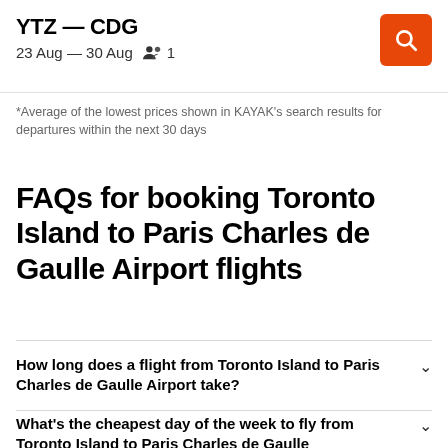YTZ — CDG
23 Aug — 30 Aug  🧑‍🤝‍🧑 1
*Average of the lowest prices shown in KAYAK's search results for departures within the next 30 days
FAQs for booking Toronto Island to Paris Charles de Gaulle Airport flights
How long does a flight from Toronto Island to Paris Charles de Gaulle Airport take?
What's the cheapest day of the week to fly from Toronto Island to Paris Charles de Gaulle